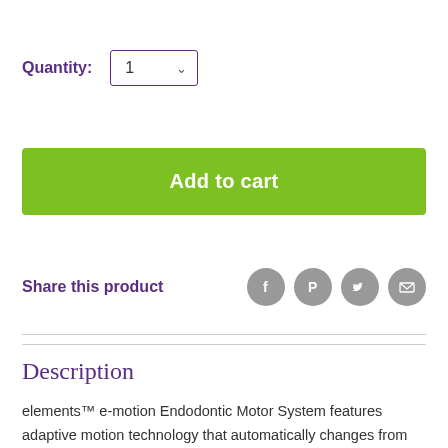Quantity: 1
Add to cart
Share this product
Description
elements™ e-motion Endodontic Motor System features adaptive motion technology that automatically changes from rotary to reciprocation based on the file load. It consists of nearly 200 preset file settings and has a touchscreen